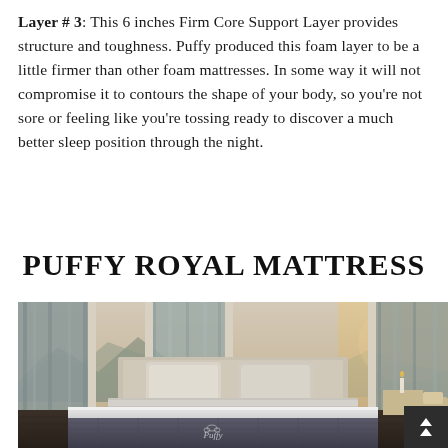Layer # 3: This 6 inches Firm Core Support Layer provides structure and toughness. Puffy produced this foam layer to be a little firmer than other foam mattresses. In some way it will not compromise it to contours the shape of your body, so you're not sore or feeling like you're tossing ready to discover a much better sleep position through the night.
PUFFY ROYAL MATTRESS
[Figure (photo): Product photo of a Puffy Royal Mattress in a luxury bedroom setting with mountain views through floor-to-ceiling windows, showing the mattress on a bed frame with pillows, and a small Puffy logo visible on the mattress front.]